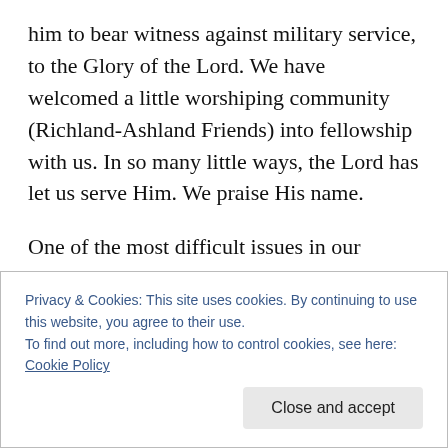him to bear witness against military service, to the Glory of the Lord. We have welcomed a little worshiping community (Richland-Ashland Friends) into fellowship with us. In so many little ways, the Lord has let us serve Him. We praise His name.
One of the most difficult issues in our witness and theology, is the Apostasy. With love, we say that as much as the non-professing world is fallen, so professing Christendom has fallen away from the Truth, abandoned principle and experience in favour of institutionalism,
Privacy & Cookies: This site uses cookies. By continuing to use this website, you agree to their use.
To find out more, including how to control cookies, see here: Cookie Policy
Close and accept